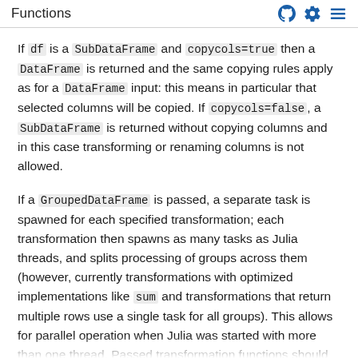Functions
If df is a SubDataFrame and copycols=true then a DataFrame is returned and the same copying rules apply as for a DataFrame input: this means in particular that selected columns will be copied. If copycols=false, a SubDataFrame is returned without copying columns and in this case transforming or renaming columns is not allowed.
If a GroupedDataFrame is passed, a separate task is spawned for each specified transformation; each transformation then spawns as many tasks as Julia threads, and splits processing of groups across them (however, currently transformations with optimized implementations like sum and transformations that return multiple rows use a single task for all groups). This allows for parallel operation when Julia was started with more than one thread. Passed transformation functions should therefore not